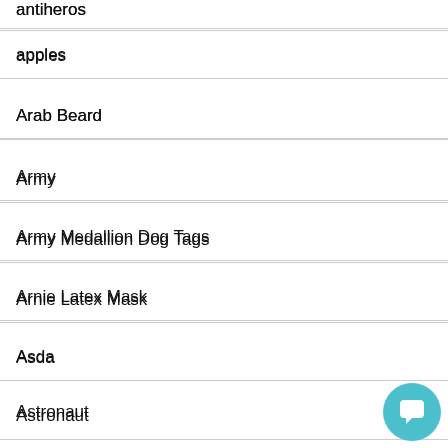antiheros
apples
Arab Beard
Army
Army Medallion Dog Tags
Arnie Latex Mask
Asda
Astronaut
Australia Day
Austro...